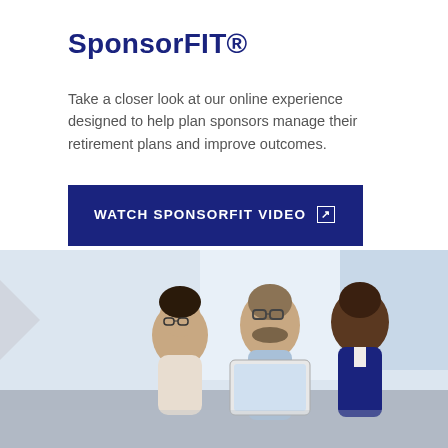SponsorFIT®
Take a closer look at our online experience designed to help plan sponsors manage their retirement plans and improve outcomes.
WATCH SPONSORFIT VIDEO
[Figure (photo): Three business professionals (two men and a woman) looking at a tablet or document together in an office setting]